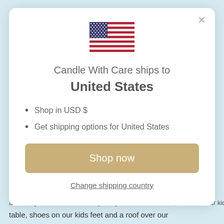[Figure (illustration): US flag SVG illustration centered at top of modal]
Candle With Care ships to
United States
Shop in USD $
Get shipping options for United States
Shop now
Change shipping country
and every order we receive helps us put food on the table, shoes on our kids feet and a roof over our